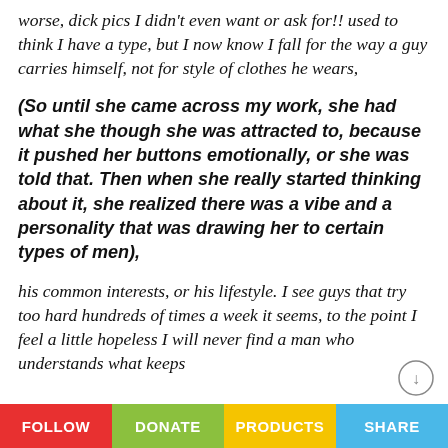worse, dick pics I didn't even want or ask for!! used to think I have a type, but I now know I fall for the way a guy carries himself, not for style of clothes he wears,
(So until she came across my work, she had what she though she was attracted to, because it pushed her buttons emotionally, or she was told that. Then when she really started thinking about it, she realized there was a vibe and a personality that was drawing her to certain types of men),
his common interests, or his lifestyle. I see guys that try too hard hundreds of times a week it seems, to the point I feel a little hopeless I will never find a man who understands what keeps
FOLLOW   DONATE   PRODUCTS   SHARE